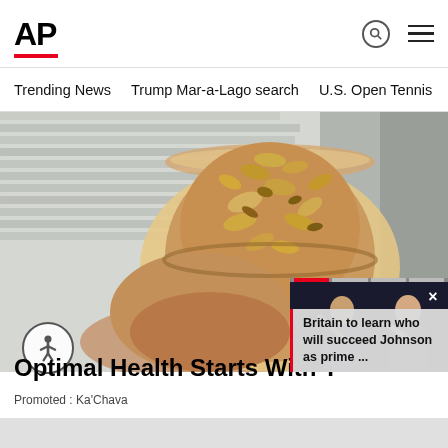AP
Trending News
Trump Mar-a-Lago search
U.S. Open Tennis
[Figure (photo): Hand holding a glass jar filled with a smoothie-like drink topped with granola, oats, and mixed nuts, photographed from above against a light background.]
Optimal Health Starts With T
Promoted : Ka'Chava
[Figure (photo): Popup video card showing two people waving, overlaid with a progress bar and text: Britain to learn who will succeed Johnson as prime ...]